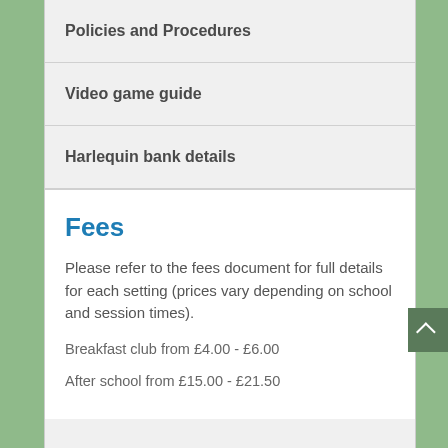Policies and Procedures
Video game guide
Harlequin bank details
Fees
Please refer to the fees document for full details for each setting (prices vary depending on school and session times).
Breakfast club from £4.00 - £6.00
After school from £15.00 - £21.50